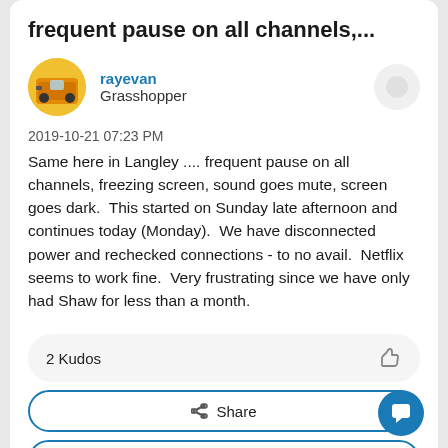frequent pause on all channels,...
rayevan
Grasshopper
2019-10-21 07:23 PM
Same here in Langley .... frequent pause on all channels, freezing screen, sound goes mute, screen goes dark.  This started on Sunday late afternoon and continues today (Monday).  We have disconnected power and rechecked connections - to no avail.  Netflix seems to work fine.  Very frustrating since we have only had Shaw for less than a month.
2 Kudos
Share
Reply